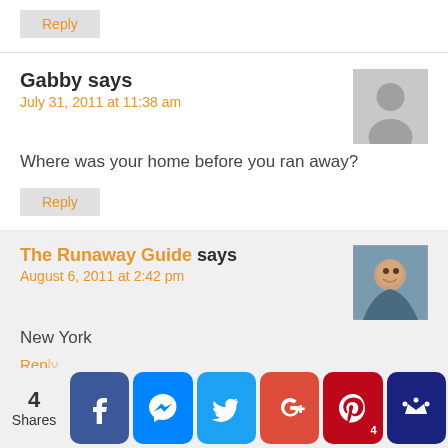Reply
Gabby says
July 31, 2011 at 11:38 am
Where was your home before you ran away?
Reply
The Runaway Guide says
August 6, 2011 at 2:42 pm
New York
4 Shares